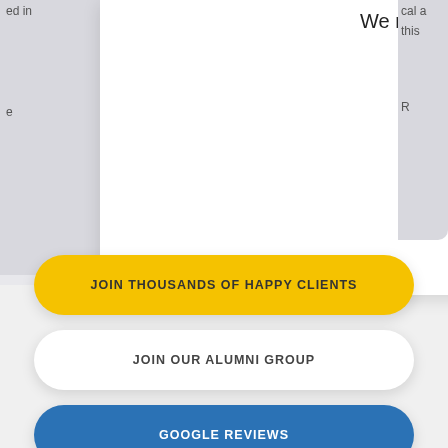We made a plan together and I did the courses …
Read More
JOIN THOUSANDS OF HAPPY CLIENTS
JOIN OUR ALUMNI GROUP
GOOGLE REVIEWS